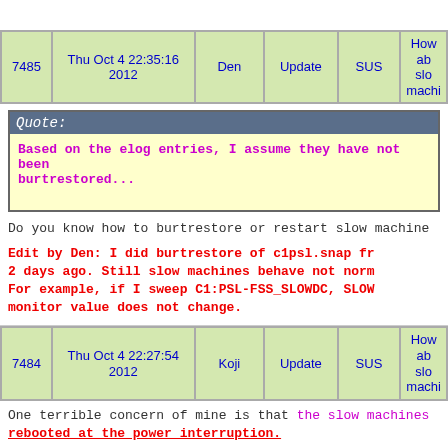| 7485 | Thu Oct 4 22:35:16 2012 | Den | Update | SUS | How ab slo machi |
| --- | --- | --- | --- | --- | --- |
Quote:
Based on the elog entries, I assume they have not been burtrestored...
Do you know how to burtrestore or restart slow machine
Edit by Den: I did burtrestore of c1psl.snap fr 2 days ago. Still slow machines behave not norm For example, if I sweep C1:PSL-FSS_SLOWDC, SLOW monitor value does not change.
| 7484 | Thu Oct 4 22:27:54 2012 | Koji | Update | SUS | How ab slo machi |
| --- | --- | --- | --- | --- | --- |
One terrible concern of mine is that the slow machines rebooted at the power interruption.